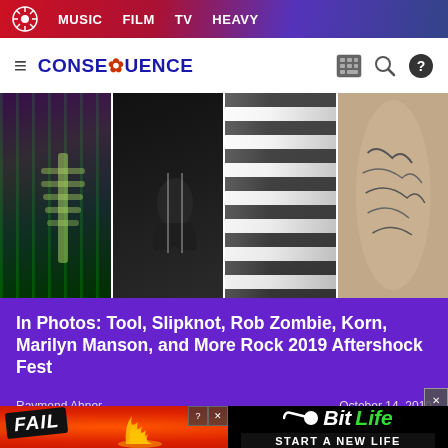MUSIC  FILM  TV  HEAVY
CONSEQUENCE
[Figure (photo): Hero image strip showing four panels of concert/festival photos: green-lit performer with skeleton costume, dark performer, black and white striped outfit, tattooed arm]
In Photos: Tool, Slipknot, Rob Zombie, Korn, Marilyn Manson, and More Rock 2019 Aftershock Fest
Raymond Ahner
October 14, 2019
[Figure (photo): Advertisement banner for BitLife game showing FAIL badge, animated character with flame graphics, and START A NEW LIFE tagline]